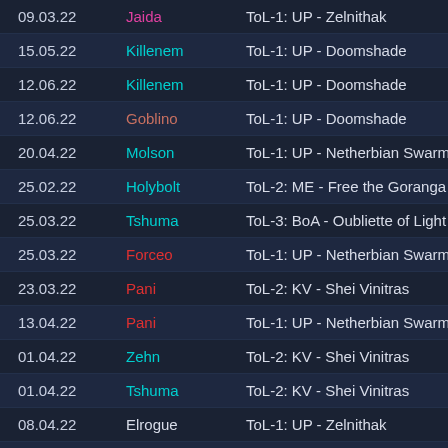| Date | User | Quest | Action |
| --- | --- | --- | --- |
| 09.03.22 | Jaida | ToL-1: UP - Zelnithak | de |
| 15.05.22 | Killenem | ToL-1: UP - Doomshade | de |
| 12.06.22 | Killenem | ToL-1: UP - Doomshade | de |
| 12.06.22 | Goblino | ToL-1: UP - Doomshade | de |
| 20.04.22 | Molson | ToL-1: UP - Netherbian Swarm Commander | de |
| 25.02.22 | Holybolt | ToL-2: ME - Free the Goranga | de |
| 25.03.22 | Tshuma | ToL-3: BoA - Oubliette of Light | de |
| 25.03.22 | Forceo | ToL-1: UP - Netherbian Swarm Commander | de |
| 23.03.22 | Pani | ToL-2: KV - Shei Vinitras | de |
| 13.04.22 | Pani | ToL-1: UP - Netherbian Swarm Commander | de |
| 01.04.22 | Zehn | ToL-2: KV - Shei Vinitras | de |
| 01.04.22 | Tshuma | ToL-2: KV - Shei Vinitras | de |
| 08.04.22 | Elrogue | ToL-1: UP - Zelnithak | de |
| 25.02.22 | Krillum | ToL-1: UP - Netherbian Swarm Commander | de |
| 19.06.22 | Jacea | ToL-1: UP - Netherbian Swarm Commander | de |